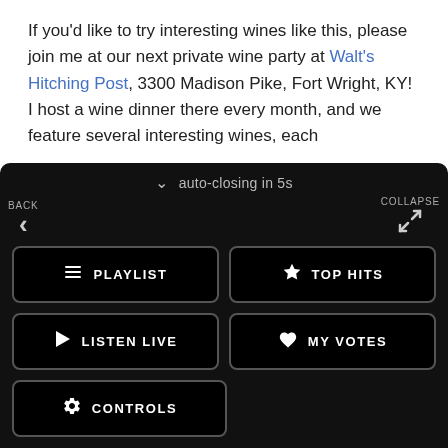If you'd like to try interesting wines like this, please join me at our next private wine party at Walt's Hitching Post, 3300 Madison Pike, Fort Wright, KY! I host a wine dinner there every month, and we feature several interesting wines, each
[Figure (screenshot): A dark-themed media player UI panel showing auto-closing countdown of 5s, navigation buttons (BACK, COLLAPSE), and menu buttons: PLAYLIST, TOP HITS, LISTEN LIVE, MY VOTES, CONTROLS. Below is a Data opt-out toggle, Warm 98 station title, Warm 98 logo, station name, and playback controls with MENU label, X (close) and play buttons.]